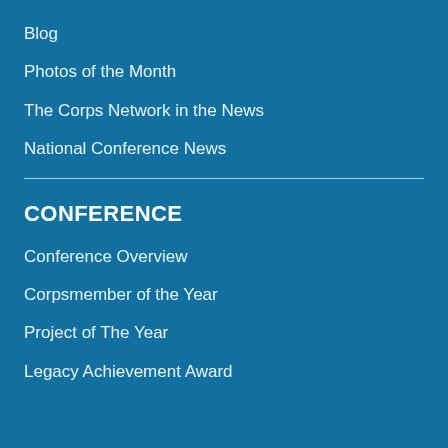Blog
Photos of the Month
The Corps Network in the News
National Conference News
CONFERENCE
Conference Overview
Corpsmember of the Year
Project of The Year
Legacy Achievement Award